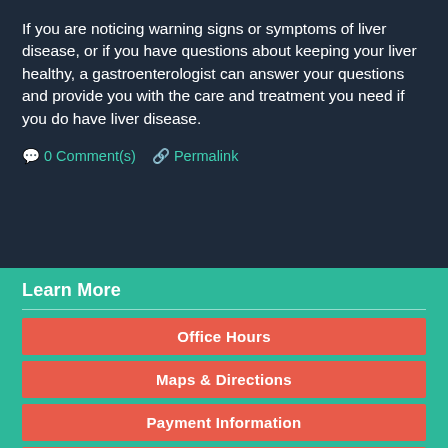If you are noticing warning signs or symptoms of liver disease, or if you have questions about keeping your liver healthy, a gastroenterologist can answer your questions and provide you with the care and treatment you need if you do have liver disease.
0 Comment(s)   Permalink
Learn More
Office Hours
Maps & Directions
Payment Information
New Patient Forms